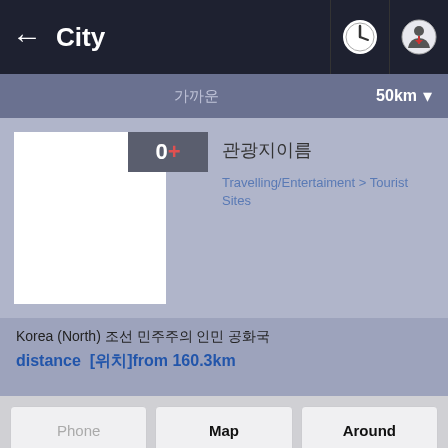City
가까운 50km ▼
[Figure (screenshot): Place card with 0+ badge and white image placeholder]
관광지이름
Travelling/Entertaiment > Tourist Sites
Korea (North) 조선 민주주의 인민 공화국
distance  [위치]from 160.3km
Phone | Map | Around | To my position | Root | Email